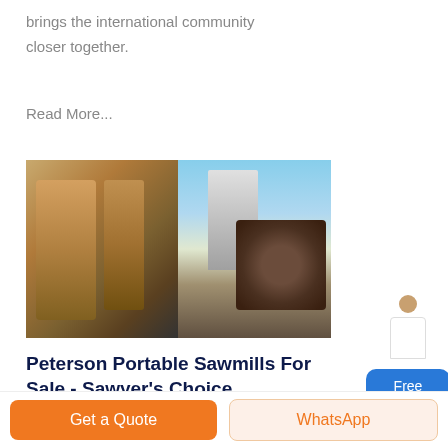brings the international community closer together.
Read More...
[Figure (photo): Two images side by side: left shows industrial machinery/equipment in a warehouse; right shows an outdoor industrial facility with a pile of logs/wood.]
Peterson Portable Sawmills For Sale - Sawyer's Choice ...
Peterson Portable Sawmills For Sale. Peterson Portable Sawmills are the top-of-the-line portable
Get a Quote
WhatsApp